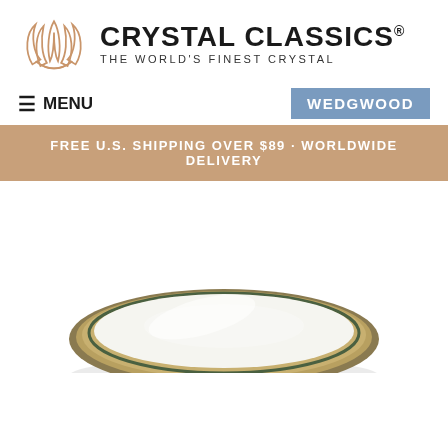[Figure (logo): Crystal Classics logo: tan/copper lotus flower icon with brand name CRYSTAL CLASSICS in bold and tagline THE WORLD'S FINEST CRYSTAL]
≡ MENU
WEDGWOOD
FREE U.S. SHIPPING OVER $89 · WORLDWIDE DELIVERY
[Figure (photo): Partial view of a white and gold-rimmed Wedgwood dinner plate, viewed from slightly above, showing the rim and edge detail]